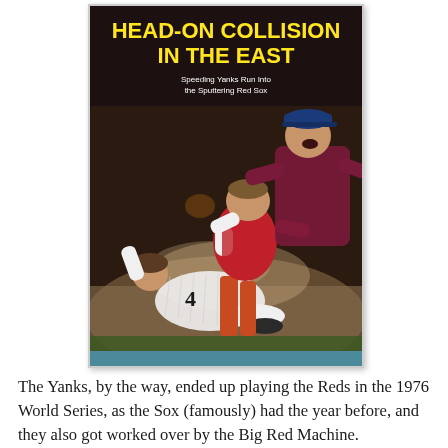[Figure (photo): Sports Illustrated magazine cover showing a baseball collision at home plate. A Yankees player in pinstripes with number 4 is sliding, while a Red Sox catcher in red and white uniform attempts a tag. An umpire in dark jacket and blue cap observes. Yellow headline text reads 'HEAD-ON COLLISION IN THE EAST' with subtext 'Speeding Yanks Run Into the Sputtering Red Sox' on a dark background.]
The Yanks, by the way, ended up playing the Reds in the 1976 World Series, as the Sox (famously) had the year before, and they also got worked over by the Big Red Machine.